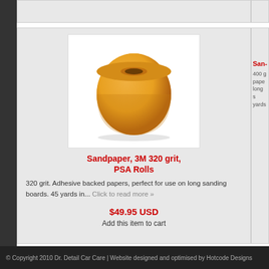[Figure (photo): A roll of yellow 3M 320 grit PSA sandpaper on a white background]
Sandpaper, 3M 320 grit, PSA Rolls
320 grit. Adhesive backed papers, perfect for use on long sanding boards. 45 yards in... Click to read more »
$49.95 USD
Add this item to cart
Sand...
400 g... paper... long s... yards...
© Copyright 2010 Dr. Detail Car Care | Website designed and optimised by Hotcode Designs